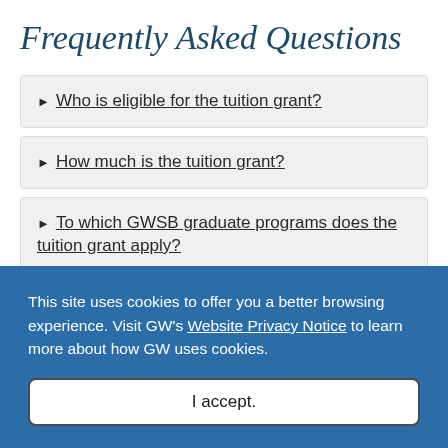Frequently Asked Questions
Who is eligible for the tuition grant?
How much is the tuition grant?
To which GWSB graduate programs does the tuition grant apply?
This site uses cookies to offer you a better browsing experience. Visit GW's Website Privacy Notice to learn more about how GW uses cookies.
I accept.